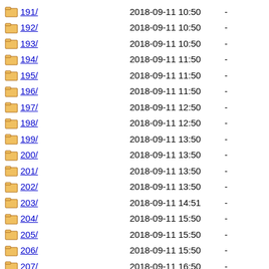191/ 2018-09-11 10:50 -
192/ 2018-09-11 10:50 -
193/ 2018-09-11 10:50 -
194/ 2018-09-11 11:50 -
195/ 2018-09-11 11:50 -
196/ 2018-09-11 11:50 -
197/ 2018-09-11 12:50 -
198/ 2018-09-11 12:50 -
199/ 2018-09-11 13:50 -
200/ 2018-09-11 13:50 -
201/ 2018-09-11 13:50 -
202/ 2018-09-11 13:50 -
203/ 2018-09-11 14:51 -
204/ 2018-09-11 15:50 -
205/ 2018-09-11 15:50 -
206/ 2018-09-11 15:50 -
207/ 2018-09-11 16:50 -